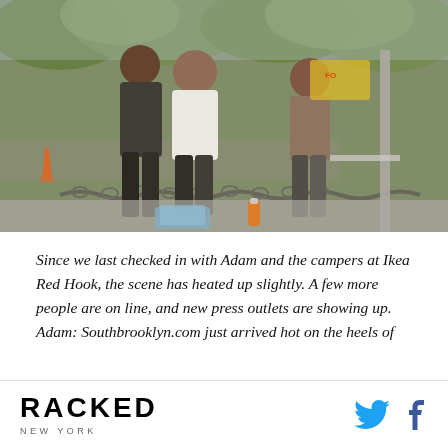[Figure (photo): Outdoor scene showing people standing near a chain barrier outside what appears to be an Ikea store. Trees and a road are visible in the background. A person in a white shirt stands near chains, with an orange bottle on the ground and papers/clipboard on the pavement.]
Since we last checked in with Adam and the campers at Ikea Red Hook, the scene has heated up slightly. A few more people are on line, and new press outlets are showing up. Adam: Southbrooklyn.com just arrived hot on the heels of
RACKED NEW YORK